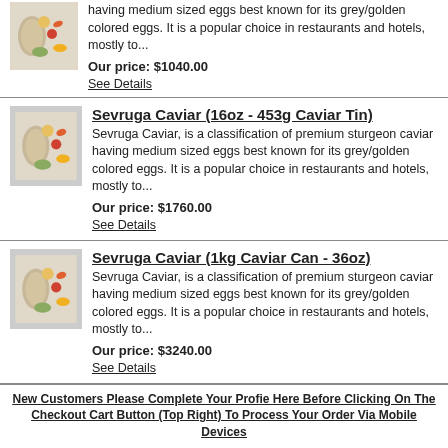having medium sized eggs best known for its grey/golden colored eggs. It is a popular choice in restaurants and hotels, mostly to...
Our price: $1040.00
See Details
Sevruga Caviar (16oz - 453g Caviar Tin)
Sevruga Caviar, is a classification of premium sturgeon caviar having medium sized eggs best known for its grey/golden colored eggs. It is a popular choice in restaurants and hotels, mostly to...
Our price: $1760.00
See Details
Sevruga Caviar (1kg Caviar Can - 36oz)
Sevruga Caviar, is a classification of premium sturgeon caviar having medium sized eggs best known for its grey/golden colored eggs. It is a popular choice in restaurants and hotels, mostly to...
Our price: $3240.00
See Details
New Customers Please Complete Your Profie Here Before Clicking On The Checkout Cart Button (Top Right) To Process Your Order Via Mobile Devices